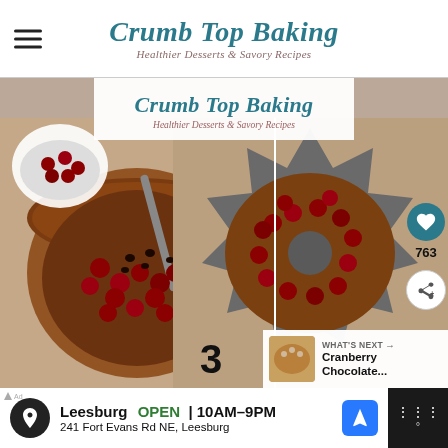Crumb Top Baking — Healthier Desserts & Savory Recipes
[Figure (photo): Food blog page screenshot showing Crumb Top Baking logo overlay on food images with cranberry chocolate bundt cake preparation steps, side action buttons (heart, share), step number 3, and What's Next panel for Cranberry Chocolate recipe]
WHAT'S NEXT → Cranberry Chocolate...
763
3
[Figure (screenshot): Ad banner: Leesburg OPEN 10AM–9PM, 241 Fort Evans Rd NE, Leesburg]